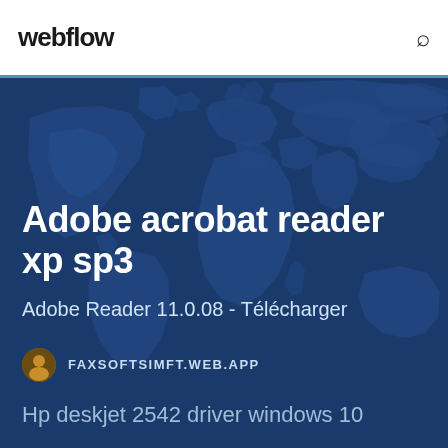webflow
[Figure (map): World map silhouette in blue tones used as hero background]
Adobe acrobat reader xp sp3
Adobe Reader 11.0.08 - Télécharger
FAXSOFTSIMFT.WEB.APP
Hp deskjet 2542 driver windows 10